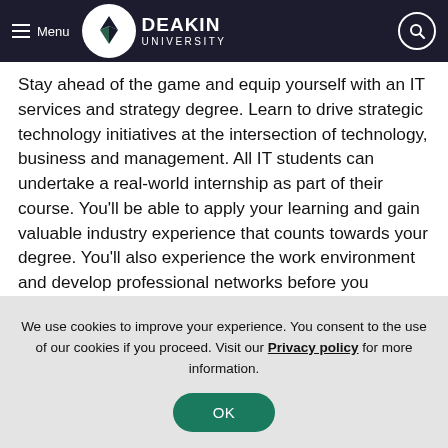Menu | DEAKIN UNIVERSITY
Stay ahead of the game and equip yourself with an IT services and strategy degree. Learn to drive strategic technology initiatives at the intersection of technology, business and management. All IT students can undertake a real-world internship as part of their course. You'll be able to apply your learning and gain valuable industry experience that counts towards your degree. You'll also experience the work environment and develop professional networks before you graduate.
We use cookies to improve your experience. You consent to the use of our cookies if you proceed. Visit our Privacy policy for more information.